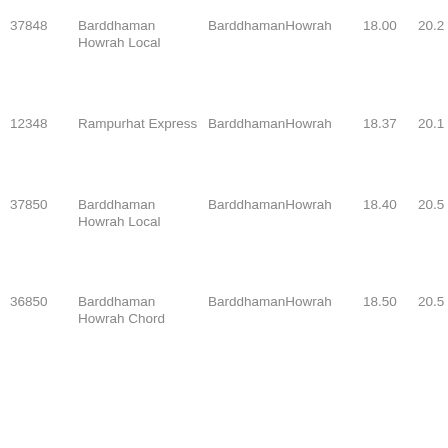| 37848 | Barddhaman Howrah Local | BarddhamanHowrah | 18.00 | 20.2 |
| 12348 | Rampurhat Express | BarddhamanHowrah | 18.37 | 20.1 |
| 37850 | Barddhaman Howrah Local | BarddhamanHowrah | 18.40 | 20.5 |
| 36850 | Barddhaman Howrah Chord | BarddhamanHowrah | 18.50 | 20.5 |